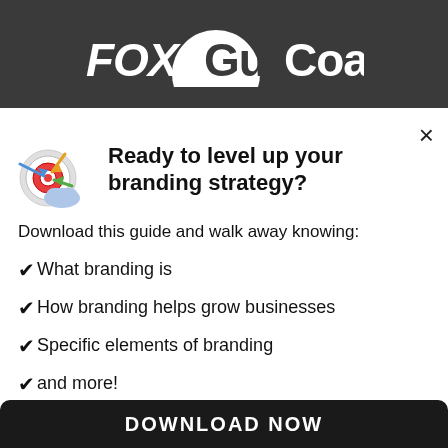FOX10 Gulf Coast
[Figure (logo): FOX10 Gulf Coast logo: bold white text on dark grey background with dome/arch shape between FOX10 and GulfCoast]
Ready to level up your branding strategy?
Download this guide and walk away knowing:
What branding is
How branding helps grow businesses
Specific elements of branding
and more!
DOWNLOAD NOW